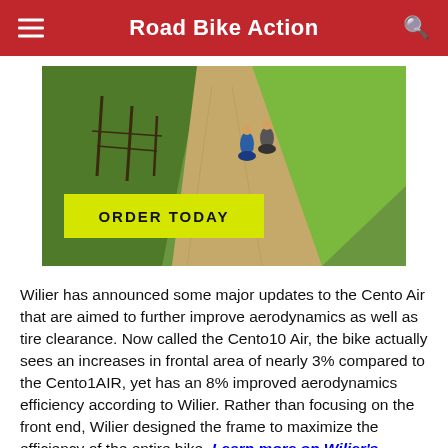Road Bike Action
[Figure (photo): Advertisement photo showing two cyclists riding on a gravel road with green fields, with a yellow 'ORDER TODAY' button and yellow 'NOW' text on the right side.]
Wilier has announced some major updates to the Cento Air that are aimed to further improve aerodynamics as well as tire clearance. Now called the Cento10 Air, the bike actually sees an increases in frontal area of nearly 3% compared to the Cento1AIR, yet has an 8% improved aerodynamics efficiency according to Wilier. Rather than focusing on the front end, Wilier designed the frame to maximize the efficiency of the entire bike. Learn more on Wilier's fastest bike at www.wilier.com!